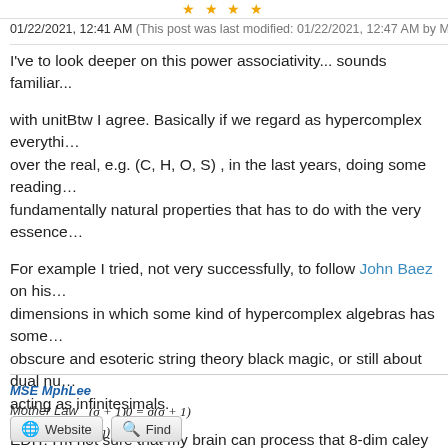★ ★ ★ ★
01/22/2021, 12:41 AM (This post was last modified: 01/22/2021, 12:47 AM by MphLee.)
I've to look deeper on this power associativity... sounds familiar...
with unitBtw I agree. Basically if we regard as hypercomplex everything over the real, e.g. (C, H, O, S) , in the last years, doing some reading fundamentally natural properties that has to do with the very essence
For example I tried, not very successfully, to follow John Baez on his dimensions in which some kind of hypercomplex algebras has some obscure and esoteric string theory black magic, or still about dual numbers acting as infinitesimals.
EDIT: I'm not sure that my brain can process that 8-dim caley table. I
MSE MphLee
Mother Law (σ+1)0 = σ(σ+1)
S Law ○^λ_f □^λ+_f (g) = □^λ_g ○^λ+_g (f)
Website  Find